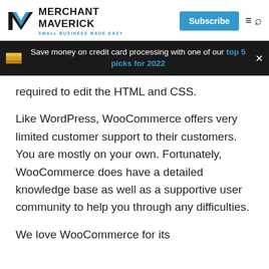MERCHANT MAVERICK — SMALL BUSINESS MADE EASY | Subscribe
Save money on credit card processing with one of our top 5 picks for 2022
required to edit the HTML and CSS.
Like WordPress, WooCommerce offers very limited customer support to their customers. You are mostly on your own. Fortunately, WooCommerce does have a detailed knowledge base as well as a supportive user community to help you through any difficulties.
We love WooCommerce for its